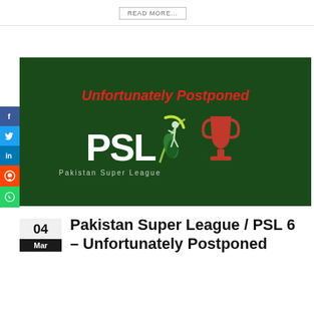READ MORE...
[Figure (illustration): Pakistan Super League (PSL) banner on dark green background. Text reads 'Unfortunately Postponed' in bold red italic. PSL logo with white letters and cricketer silhouette with green crescent. Red trophy icon on the right.]
Pakistan Super League / PSL 6 – Unfortunately Postponed